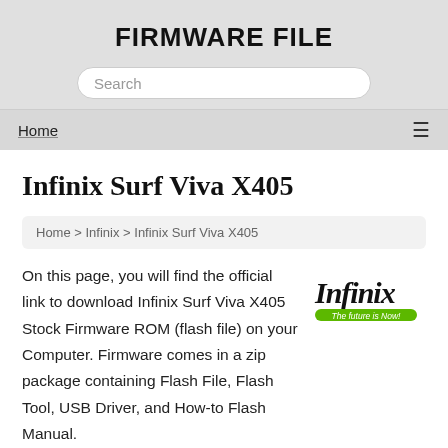FIRMWARE FILE
Search
Home  ≡
Infinix Surf Viva X405
Home > Infinix > Infinix Surf Viva X405
On this page, you will find the official link to download Infinix Surf Viva X405 Stock Firmware ROM (flash file) on your Computer. Firmware comes in a zip package containing Flash File, Flash Tool, USB Driver, and How-to Flash Manual.
[Figure (logo): Infinix logo with tagline 'The future is Now!']